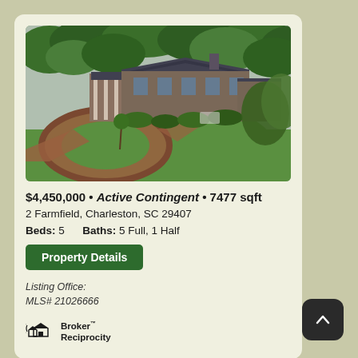[Figure (photo): Aerial view of a large brick colonial-style home with dark roof, circular brick driveway, green lawn, and surrounding trees in Charleston, SC]
$4,450,000 • Active Contingent • 7477 sqft
2 Farmfield, Charleston, SC 29407
Beds: 5    Baths: 5 Full, 1 Half
Property Details
Listing Office:
MLS# 21026666
[Figure (logo): Broker Reciprocity logo with house icon]